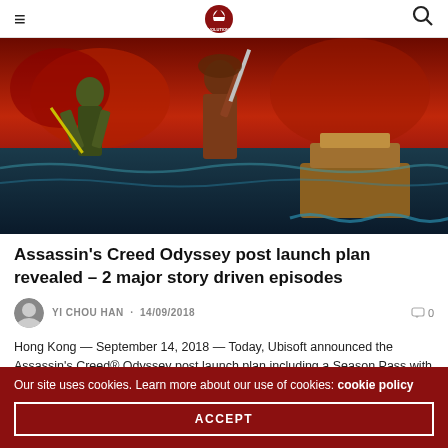≡  [Logo: Red Dot Revolutionist]  🔍
[Figure (photo): Assassin's Creed Odyssey promotional artwork showing warrior figures with swords against a fiery red sky and stormy sea with a ship]
Assassin's Creed Odyssey post launch plan revealed – 2 major story driven episodes
YI CHOU HAN · 14/09/2018   💬 0
Hong Kong — September 14, 2018 — Today, Ubisoft announced the Assassin's Creed® Odyssey post launch plan including a Season Pass with two major, episodic pieces of narratively driven gameplay and Assassin's Creed® III Remastered. Additionally, all Assassin's Creed
Our site uses cookies. Learn more about our use of cookies: cookie policy
ACCEPT